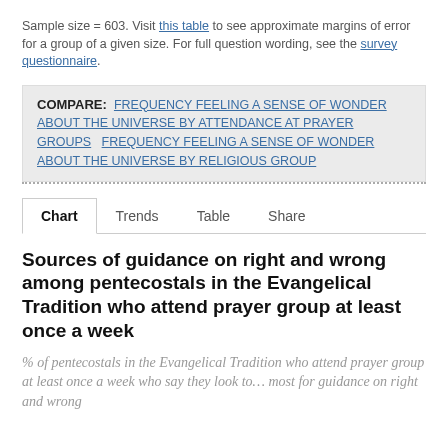Sample size = 603. Visit this table to see approximate margins of error for a group of a given size. For full question wording, see the survey questionnaire.
COMPARE: FREQUENCY FEELING A SENSE OF WONDER ABOUT THE UNIVERSE BY ATTENDANCE AT PRAYER GROUPS   FREQUENCY FEELING A SENSE OF WONDER ABOUT THE UNIVERSE BY RELIGIOUS GROUP
Chart   Trends   Table   Share
Sources of guidance on right and wrong among pentecostals in the Evangelical Tradition who attend prayer group at least once a week
% of pentecostals in the Evangelical Tradition who attend prayer group at least once a week who say they look to… most for guidance on right and wrong